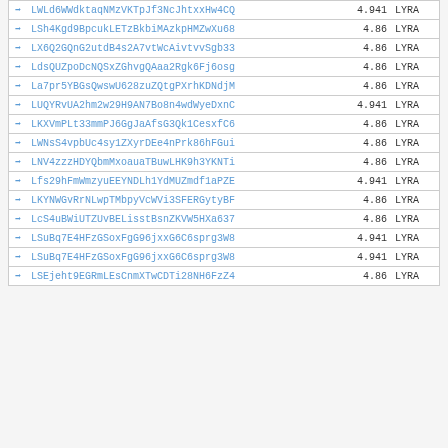| Link | Score | Tag |
| --- | --- | --- |
| → LWLd6WWdktaqNMzVKTpJf3NcJhtxxHw4CQ | 4.941 | LYRA |
| → LSh4Kgd9BpcukLETzBkbiMAzkpHMZwXu68 | 4.86 | LYRA |
| → LX6Q2GQnG2utdB4s2A7vtWcAivtvvSgb33 | 4.86 | LYRA |
| → LdsQUZpoDcNQSxZGhvgQAaa2Rgk6Fj6osg | 4.86 | LYRA |
| → La7pr5YBGsQwswU628zuZQtgPXrhKDNdjM | 4.86 | LYRA |
| → LUQYRvUA2hm2w29H9AN7Bo8n4wdWyeDxnC | 4.941 | LYRA |
| → LKXVmPLt33mmPJ6GgJaAfsG3Qk1CesxfC6 | 4.86 | LYRA |
| → LWNsS4vpbUc4sy1ZXyrDEe4nPrk86hFGui | 4.86 | LYRA |
| → LNV4zzzHDYQbmMxoauaTBuwLHK9h3YKNTi | 4.86 | LYRA |
| → Lfs29hFmWmzyuEEYNDLh1YdMUZmdf1aPZE | 4.941 | LYRA |
| → LKYNWGvRrNLwpTMbpyVcWVi3SFERGytyBF | 4.86 | LYRA |
| → LcS4uBWiUTZUvBELisstBsnZKVW5HXa637 | 4.86 | LYRA |
| → LSuBq7E4HFzGSoxFgG96jxxG6C6sprg3W8 | 4.941 | LYRA |
| → LSuBq7E4HFzGSoxFgG96jxxG6C6sprg3W8 | 4.941 | LYRA |
| → LSEjeht9EGRmLEsCnmXTwCDTi28NH6FzZ4 | 4.86 | LYRA |